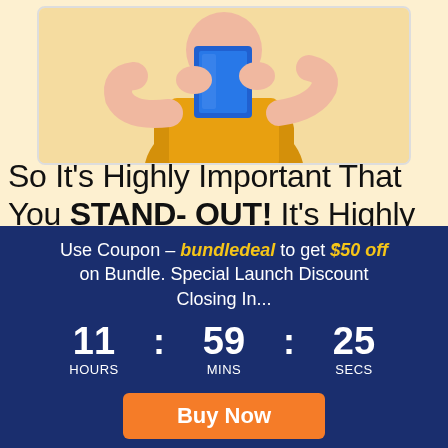[Figure (illustration): 3D cartoon character in yellow apron holding a blue book/tablet, cropped at top]
So It’s Highly Important That You STAND- OUT! It’s Highly Important To Jump On Every NEW Opportunity That Sets
Use Coupon – bundledeal to get $50 off on Bundle. Special Launch Discount Closing In...
11 : 59 : 25 HOURS MINS SECS
Buy Now